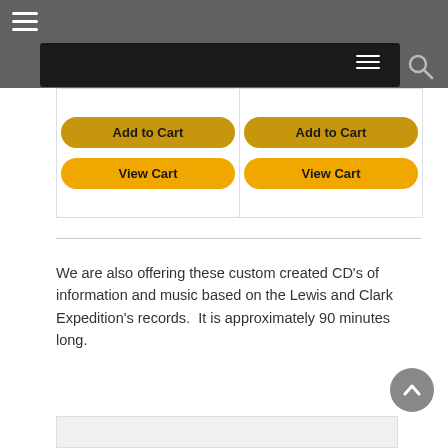Navigation bar with hamburger menu and search
[Figure (screenshot): Two Add to Cart and View Cart buttons in gold/yellow pill shape, arranged in two columns]
We are also offering these custom created CD’s of information and music based on the Lewis and Clark Expedition’s records.  It is approximately 90 minutes long.